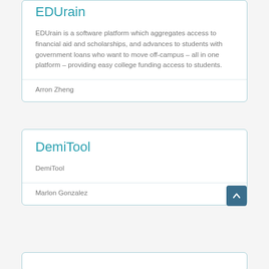EDUrain
EDUrain is a software platform which aggregates access to financial aid and scholarships, and advances to students with government loans who want to move off-campus – all in one platform – providing easy college funding access to students.
Arron Zheng
DemiTool
DemiTool
Marlon Gonzalez